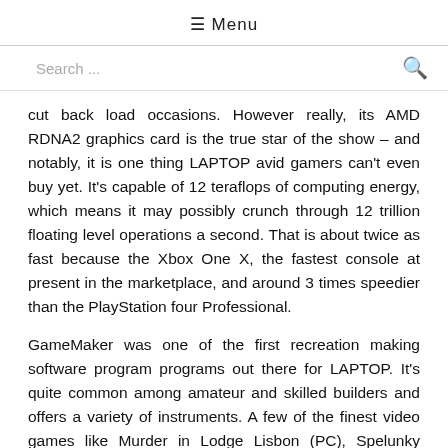≡ Menu
Search ...
cut back load occasions. However really, its AMD RDNA2 graphics card is the true star of the show – and notably, it is one thing LAPTOP avid gamers can't even buy yet. It's capable of 12 teraflops of computing energy, which means it may possibly crunch through 12 trillion floating level operations a second. That is about twice as fast because the Xbox One X, the fastest console at present in the marketplace, and around 3 times speedier than the PlayStation four Professional.
GameMaker was one of the first recreation making software program programs out there for LAPTOP. It's quite common among amateur and skilled builders and offers a variety of instruments. A few of the finest video games like Murder in Lodge Lisbon (PC), Spelunky (LAPTOP) and Aces of Luftwaffe (Android) have been created using GameMaker's toolset.